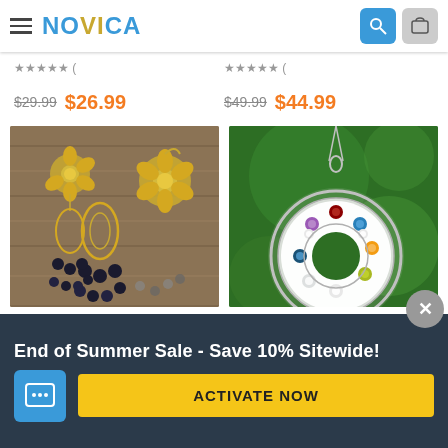[Figure (screenshot): NOVICA e-commerce app header with hamburger menu, NOVICA logo, search icon, and cart icon]
$29.99  $26.99
$49.99  $44.99
[Figure (photo): Floral Glam earrings with gold flower and black pearl dangles on wooden background]
[Figure (photo): Chakra Honor Wheel necklace - silver circular pendant with multicolored gemstones on green background]
Floral Glam, Floral
Chakra Honor Wheel,
End of Summer Sale - Save 10% Sitewide!
ACTIVATE NOW